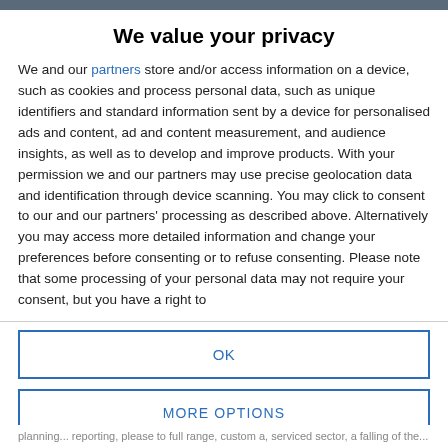We value your privacy
We and our partners store and/or access information on a device, such as cookies and process personal data, such as unique identifiers and standard information sent by a device for personalised ads and content, ad and content measurement, and audience insights, as well as to develop and improve products. With your permission we and our partners may use precise geolocation data and identification through device scanning. You may click to consent to our and our partners' processing as described above. Alternatively you may access more detailed information and change your preferences before consenting or to refuse consenting. Please note that some processing of your personal data may not require your consent, but you have a right to
OK
MORE OPTIONS
planning... reporting, please to full range, custom a, serviced sector, a falling of the...